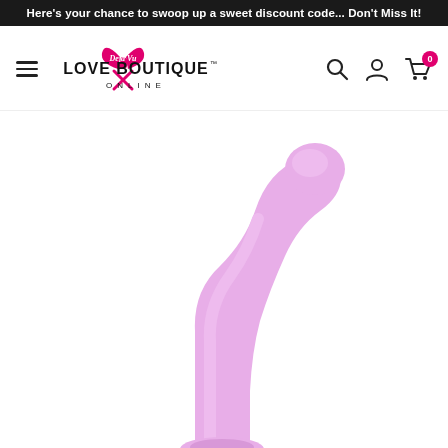Here's your chance to swoop up a sweet discount code... Don't Miss It!
[Figure (logo): Love Boutique Online logo with pink bow/heart and Deja Vu script, with hamburger menu, search, account and cart (0) icons in navigation bar]
[Figure (photo): Pink silicone adult product with curved neck and rounded tip against white background]